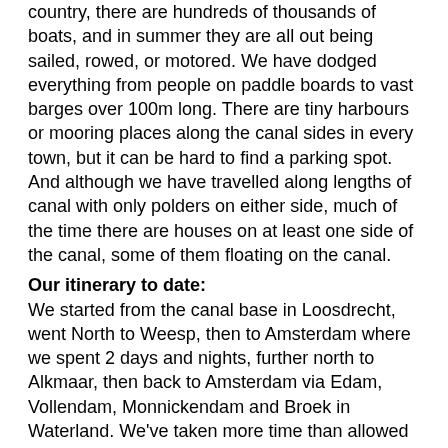country, there are hundreds of thousands of boats, and in summer they are all out being sailed, rowed, or motored. We have dodged everything from people on paddle boards to vast barges over 100m long. There are tiny harbours or mooring places along the canal sides in every town, but it can be hard to find a parking spot. And although we have travelled along lengths of canal with only polders on either side, much of the time there are houses on at least one side of the canal, some of them floating on the canal.
Our itinerary to date:
We started from the canal base in Loosdrecht, went North to Weesp, then to Amsterdam where we spent 2 days and nights, further north to Alkmaar, then back to Amsterdam via Edam, Vollendam, Monnickendam and Broek in Waterland. We've taken more time than allowed for in our schedule, so instead of proceeding on a southern loop through Gouda, we are retracing our path toward Loosdrecht. From there we will just go on to Utrecht, then return to base next Friday.
Highspots
Seeing Amsterdam
[Figure (photo): Blue sky with white fluffy clouds]